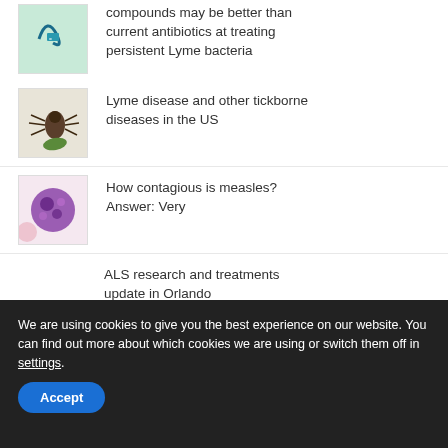compounds may be better than current antibiotics at treating persistent Lyme bacteria
Lyme disease and other tickborne diseases in the US
How contagious is measles? Answer: Very
ALS research and treatments update in Orlando
CDC Warns About Thomson International Onions in Salmonella Outbreak
We are using cookies to give you the best experience on our website. You can find out more about which cookies we are using or switch them off in settings.
Accept